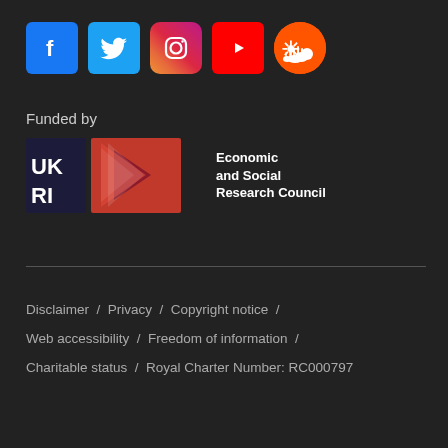[Figure (logo): Social media icons: Facebook, Twitter, Instagram, YouTube, SoundCloud]
Funded by
[Figure (logo): UKRI Economic and Social Research Council logo]
Disclaimer / Privacy / Copyright notice / Web accessibility / Freedom of information / Charitable status / Royal Charter Number: RC000797